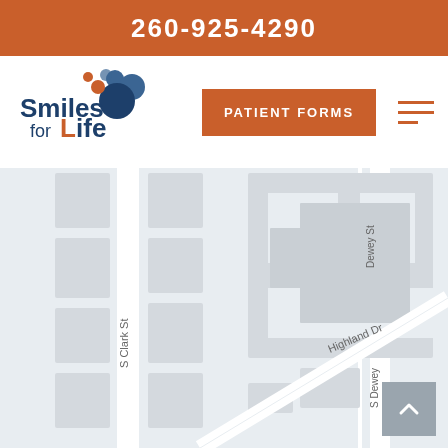260-925-4290
[Figure (logo): Smiles for Life dental practice logo with blue circles]
PATIENT FORMS
[Figure (map): Street map showing S Clark St, Dewey St, S Dewey, and Highland Dr with building footprints]